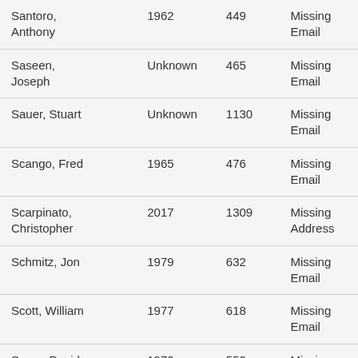| Santoro, Anthony | 1962 | 449 | Missing Email |
| Saseen, Joseph | Unknown | 465 | Missing Email |
| Sauer, Stuart | Unknown | 1130 | Missing Email |
| Scango, Fred | 1965 | 476 | Missing Email |
| Scarpinato, Christopher | 2017 | 1309 | Missing Address |
| Schmitz, Jon | 1979 | 632 | Missing Email |
| Scott, William | 1977 | 618 | Missing Email |
| Sears, David | 1970 | 552 | Missing Email |
| Sena, Michael | 1989 | 786 | Missing |